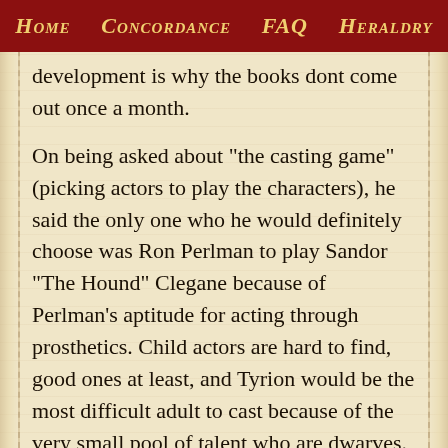Home   Concordance   FAQ   Heraldry
development is why the books dont come out once a month.
On being asked about "the casting game" (picking actors to play the characters), he said the only one who he would definitely choose was Ron Perlman to play Sandor "The Hound" Clegane because of Perlman's aptitude for acting through prosthetics. Child actors are hard to find, good ones at least, and Tyrion would be the most difficult adult to cast because of the very small pool of talent who are dwarves.
He said Arya may appear at the end of book 5.